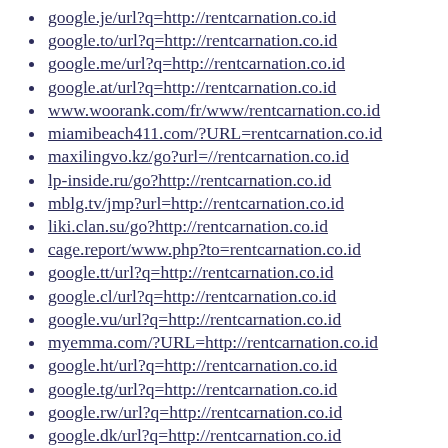google.je/url?q=http://rentcarnation.co.id
google.to/url?q=http://rentcarnation.co.id
google.me/url?q=http://rentcarnation.co.id
google.at/url?q=http://rentcarnation.co.id
www.woorank.com/fr/www/rentcarnation.co.id
miamibeach411.com/?URL=rentcarnation.co.id
maxilingvo.kz/go?url=//rentcarnation.co.id
lp-inside.ru/go?http://rentcarnation.co.id
mblg.tv/jmp?url=http://rentcarnation.co.id
liki.clan.su/go?http://rentcarnation.co.id
cage.report/www.php?to=rentcarnation.co.id
google.tt/url?q=http://rentcarnation.co.id
google.cl/url?q=http://rentcarnation.co.id
google.vu/url?q=http://rentcarnation.co.id
myemma.com/?URL=http://rentcarnation.co.id
google.ht/url?q=http://rentcarnation.co.id
google.tg/url?q=http://rentcarnation.co.id
google.rw/url?q=http://rentcarnation.co.id
google.dk/url?q=http://rentcarnation.co.id